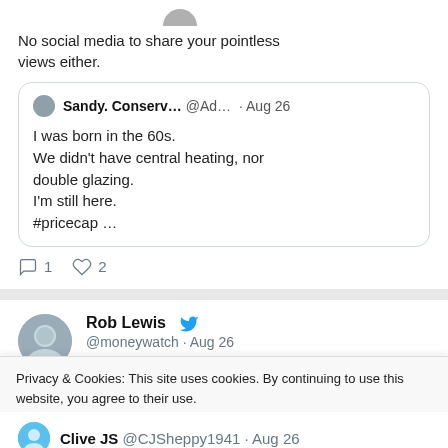[Figure (screenshot): Twitter/social media screenshot showing tweet conversation. Top section shows a partial avatar and tweet text. A quoted tweet from Sandy. Conserv... @Ad... · Aug 26 is embedded. Below is a second tweet from Rob Lewis @moneywatch · Aug 26 with profile photo. A cookie consent banner overlays the bottom. Partially visible tweet from Clive JS @CJSheppy1941 · Aug 26 at the very bottom.]